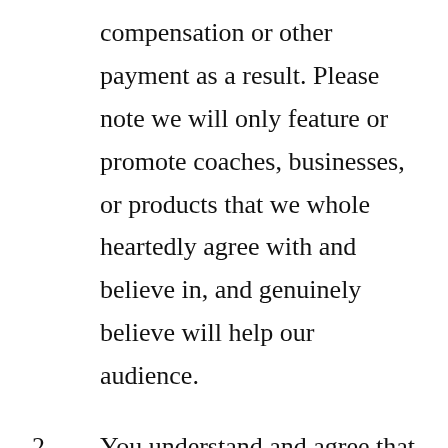compensation or other payment as a result. Please note we will only feature or promote coaches, businesses, or products that we whole heartedly agree with and believe in, and genuinely believe will help our audience.
2. You understand and agree that you must use your own judgement with respect to determining whether any promotion of another product is